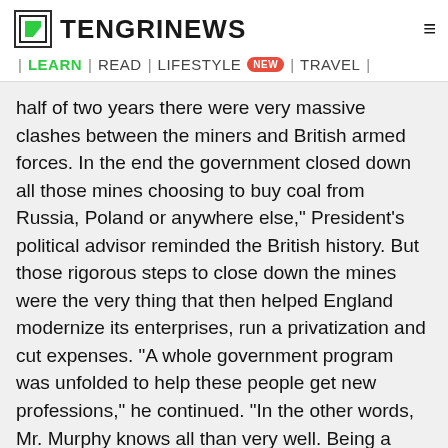TENGRINEWS | LEARN | READ | LIFESTYLE NEW | TRAVEL |
half of two years there were very massive clashes between the miners and British armed forces. In the end the government closed down all those mines choosing to buy coal from Russia, Poland or anywhere else," President's political advisor reminded the British history. But those rigorous steps to close down the mines were the very thing that then helped England modernize its enterprises, run a privatization and cut expenses. "A whole government program was unfolded to help these people get new professions," he continued. "In the other words, Mr. Murphy knows all than very well. Being a knowledgeable person he should once again remember the history," Yermukhamet Yertysbayev concluded.
LAST NEWS